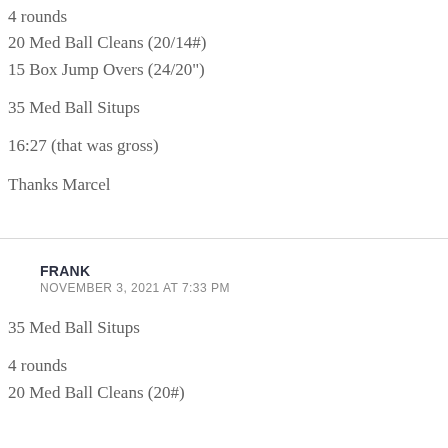4 rounds
20 Med Ball Cleans (20/14#)
15 Box Jump Overs (24/20")
35 Med Ball Situps
16:27 (that was gross)
Thanks Marcel
FRANK
NOVEMBER 3, 2021 AT 7:33 PM
35 Med Ball Situps
4 rounds
20 Med Ball Cleans (20#)